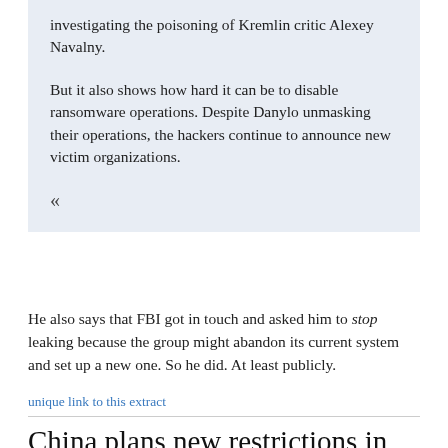investigating the poisoning of Kremlin critic Alexey Navalny.
But it also shows how hard it can be to disable ransomware operations. Despite Danylo unmasking their operations, the hackers continue to announce new victim organizations.
«
He also says that FBI got in touch and asked him to stop leaking because the group might abandon its current system and set up a new one. So he did. At least publicly.
unique link to this extract
China plans new restrictions in it...